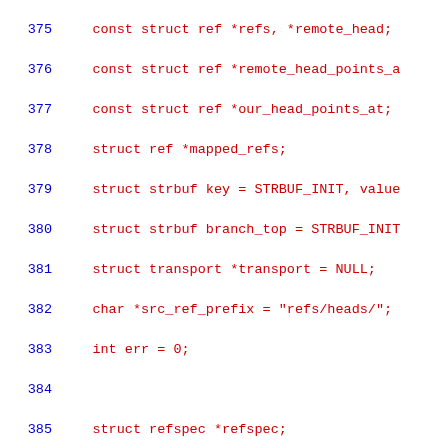[Figure (screenshot): Source code listing in C, lines 375-404, with syntax highlighting: line numbers in blue, keywords and types in red, string literals in red, plain code in dark/black.]